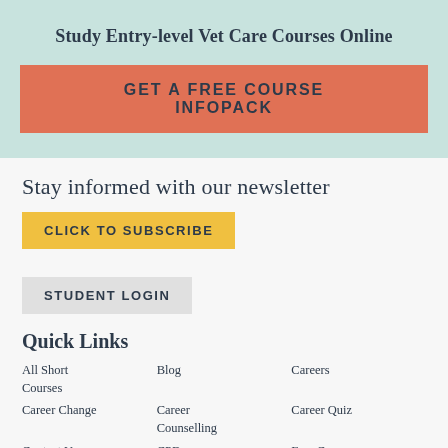Study Entry-level Vet Care Courses Online
[Figure (other): Call-to-action button: GET A FREE COURSE INFOPACK on teal/mint background]
Stay informed with our newsletter
[Figure (other): Yellow button: CLICK TO SUBSCRIBE]
[Figure (other): Grey button: STUDENT LOGIN]
Quick Links
All Short Courses
Career Change
Contact Us
Gain Interpersonal
Blog
Career Counselling
CPD Accreditation
Giving Back
Careers
Career Quiz
Free Courses
Refund Policy